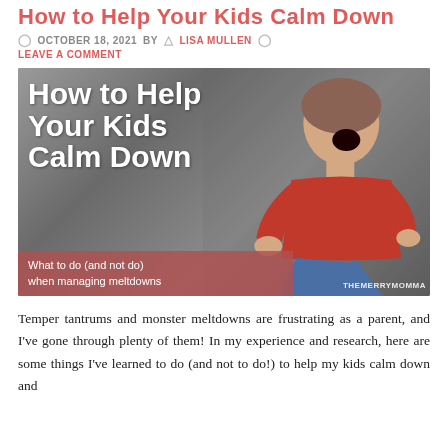How to Help Your Kids Calm Down
OCTOBER 18, 2021  BY  LISA MULLEN
LEAVE A COMMENT
[Figure (photo): Blog header image showing a child sitting cross-legged and screaming against a concrete wall background. Overlaid text reads 'How to Help Your Kids Calm Down' and 'What to do (and not do) when managing meltdowns'. Watermark: THEMERRYMOMMA]
Temper tantrums and monster meltdowns are frustrating as a parent, and I've gone through plenty of them! In my experience and research, here are some things I've learned to do (and not to do!) to help my kids calm down and